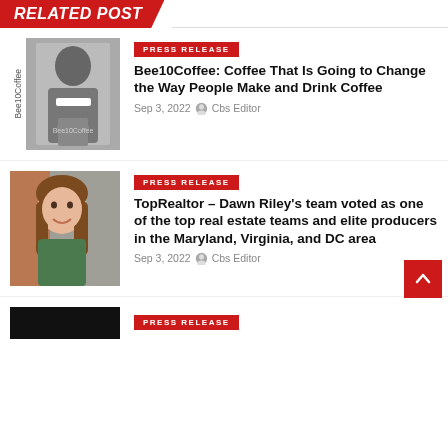Related Post
[Figure (photo): Black and white photo of a man in a Bee10Coffee branded t-shirt holding a coffee cup]
PRESS RELEASE
Bee10Coffee: Coffee That Is Going to Change the Way People Make and Drink Coffee
Sep 3, 2022  Cbs Editor
[Figure (photo): Portrait photo of a woman with brown hair smiling, wearing a green top, with a brick wall background]
PRESS RELEASE
TopRealtor – Dawn Riley's team voted as one of the top real estate teams and elite producers in the Maryland, Virginia, and DC area
Sep 3, 2022  Cbs Editor
[Figure (photo): Partial view of a third post image (dark/black image, partially visible at bottom)]
PRESS RELEASE